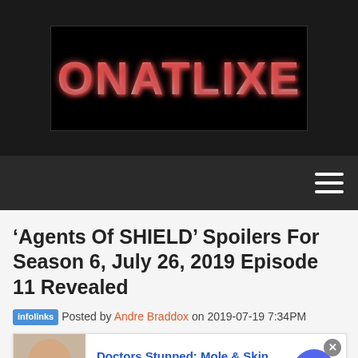[Figure (logo): ONATLIXE website logo in stylized red/gray metallic text on black background]
‘Agents Of SHIELD’ Spoilers For Season 6, July 26, 2019 Episode 11 Revealed
Posted by Andre Braddox on 2019-07-19 7:34PM
[Figure (screenshot): Infolinks advertisement overlay: Doctors Stunned: Mole & Skin Tag Removal, n/a, with woman applying something near nose and a blue arrow button]